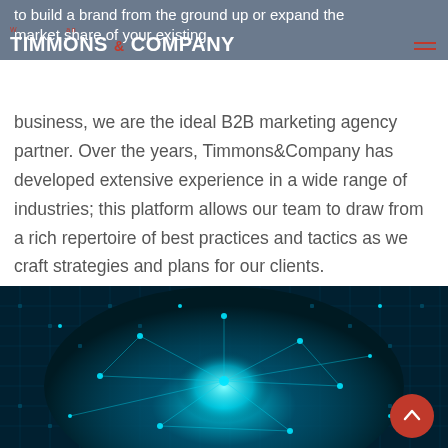TIMMONS & COMPANY — navigation header with logo
to build a brand from the ground up or expand the market share of your existing business, we are the ideal B2B marketing agency partner. Over the years, Timmons&Company has developed extensive experience in a wide range of industries; this platform allows our team to draw from a rich repertoire of best practices and tactics as we craft strategies and plans for our clients.
[Figure (photo): Technology/digital network background image showing a glowing blue circuit board or global network visualization with nodes and connections, dark background with teal/cyan highlights.]